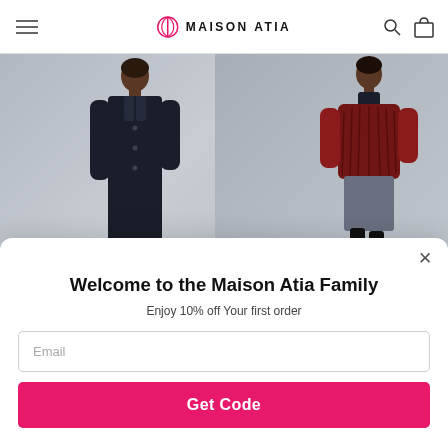MAISON ATIA
[Figure (photo): Two female models wearing Maison Atia coats against a grey background. Left model wears a long dark navy shearling coat. Right model wears a short red/dark patterned fur jacket with a grey skirt and tall heels.]
Welcome to the Maison Atia Family
Enjoy 10% off Your first order
Email
Get Code